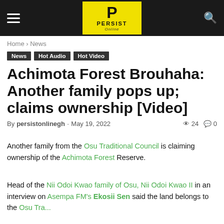PERSIST Online
Home › News
News
Hot Audio
Hot Video
Achimota Forest Brouhaha: Another family pops up; claims ownership [Video]
By persistonlinegh - May 19, 2022  👁 24  💬 0
Another family from the Osu Traditional Council is claiming ownership of the Achimota Forest Reserve.
Head of the Nii Odoi Kwao family of Osu, Nii Odoi Kwao II in an interview on Asempa FM's Ekosii Sen said the land belongs to the Osu Traditional...